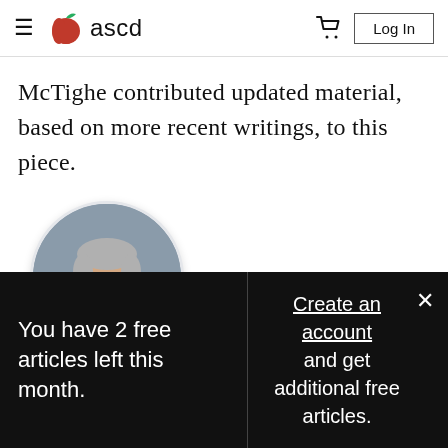ascd — Log In
McTighe contributed updated material, based on more recent writings, to this piece.
[Figure (photo): Circular portrait photo of an older man with gray hair, smiling, wearing a light blue collared shirt, against a gray background.]
You have 2 free articles left this month.
Create an account and get additional free articles.